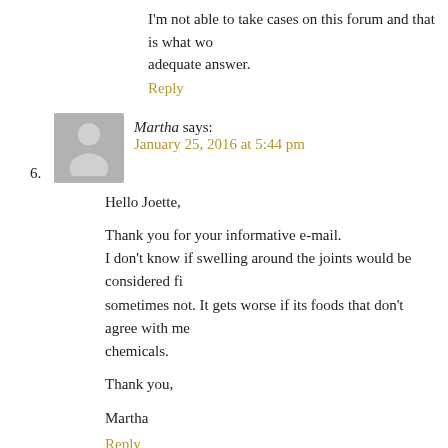I'm not able to take cases on this forum and that is what wo adequate answer.
Reply
Martha says: January 25, 2016 at 5:44 pm
Hello Joette,

Thank you for your informative e-mail.
I don't know if swelling around the joints would be considered fi sometimes not. It gets worse if its foods that don't agree with me chemicals.

Thank you,

Martha
Reply
barb says: January 25, 2016 at 8:42 pm